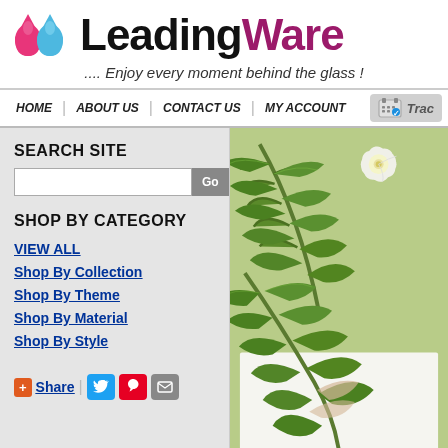[Figure (logo): LeadingWare logo with two water drops (pink and blue) and bold text 'LeadingWare' in black and purple]
.... Enjoy every moment behind the glass !
HOME | ABOUT US | CONTACT US | MY ACCOUNT | Track
SEARCH SITE
SHOP BY CATEGORY
VIEW ALL
Shop By Collection
Shop By Theme
Shop By Material
Shop By Style
[Figure (illustration): Tropical plant illustration with green palm leaves and white orchid flowers on a light green background]